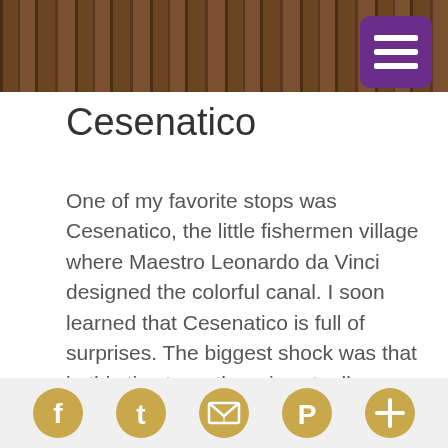[Figure (photo): Partial photo of wooden floor/boardwalk in warm brown tones, appearing at the top of the page behind a purple menu button]
Cesenatico
One of my favorite stops was Cesenatico, the little fishermen village where Maestro Leonardo da Vinci designed the colorful canal. I soon learned that Cesenatico is full of surprises. The biggest shock was that in this tiny town there is actually a Michelin-starred restaurant called La Buca. Things took an interesting turn when we had the chance to watch famed Chef Stefano Bartolini prepare a few of the dishes we would eat a few hours later. If you're not ready to splurge on a Michelin meal, swing by their more casual sister restaurant next door.
Social media icons: Facebook, Twitter, Email/RSS, Pinterest, Add